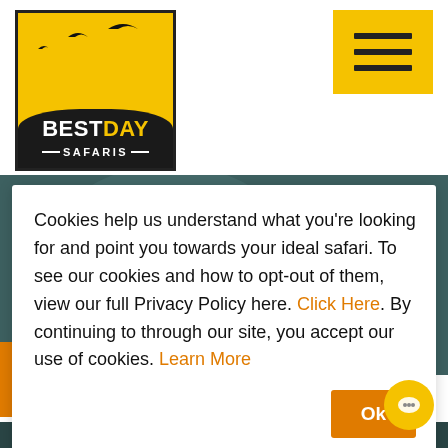[Figure (logo): Best Day Safaris logo: yellow box with black border, flying birds silhouettes, black ground strip, text BESTDAY SAFARIS in white with yellow accent]
[Figure (other): Orange/yellow hamburger menu icon (three horizontal lines) on yellow background, top right corner]
[Figure (photo): Hero background image: leopard camouflaged in dark teal/green foliage]
Cookies help us understand what you're looking for and point you towards your ideal safari. To see our cookies and how to opt-out of them, view our full Privacy Policy here. Click Here. By continuing to through our site, you accept our use of cookies. Learn More
[Figure (other): Orange Ok button, bottom right of cookie dialog]
[Figure (other): Round yellow chat button, bottom right corner]